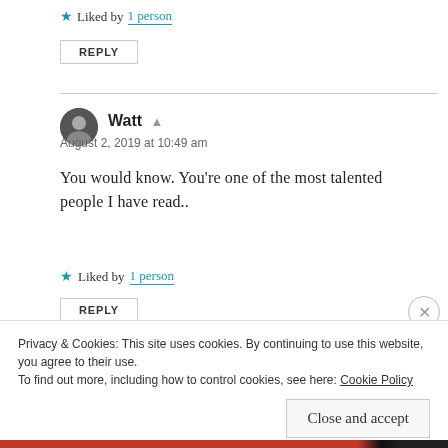★ Liked by 1 person
REPLY
Watt
August 2, 2019 at 10:49 am
You would know. You're one of the most talented people I have read..
★ Liked by 1 person
REPLY
Privacy & Cookies: This site uses cookies. By continuing to use this website, you agree to their use.
To find out more, including how to control cookies, see here: Cookie Policy
Close and accept